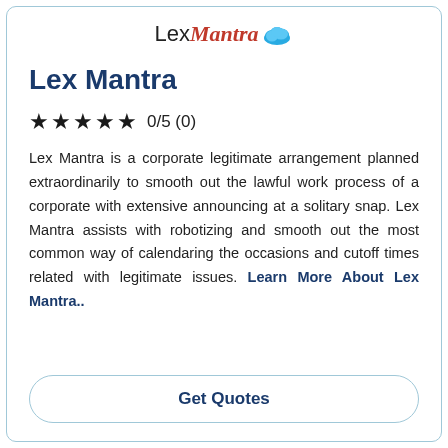[Figure (logo): LexMantra logo with cloud icon — 'Lex' in dark text, 'Mantra' in red italic, blue cloud graphic to the right]
Lex Mantra
★★★★★ 0/5 (0)
Lex Mantra is a corporate legitimate arrangement planned extraordinarily to smooth out the lawful work process of a corporate with extensive announcing at a solitary snap. Lex Mantra assists with robotizing and smooth out the most common way of calendaring the occasions and cutoff times related with legitimate issues. Learn More About Lex Mantra..
Get Quotes